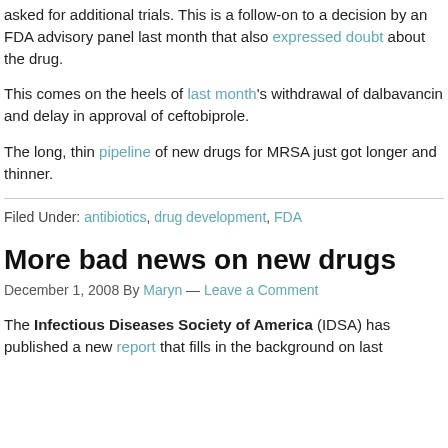asked for additional trials. This is a follow-on to a decision by an FDA advisory panel last month that also expressed doubt about the drug.
This comes on the heels of last month's withdrawal of dalbavancin and delay in approval of ceftobiprole.
The long, thin pipeline of new drugs for MRSA just got longer and thinner.
Filed Under: antibiotics, drug development, FDA
More bad news on new drugs
December 1, 2008 By Maryn — Leave a Comment
The Infectious Diseases Society of America (IDSA) has published a new report that fills in the background on last